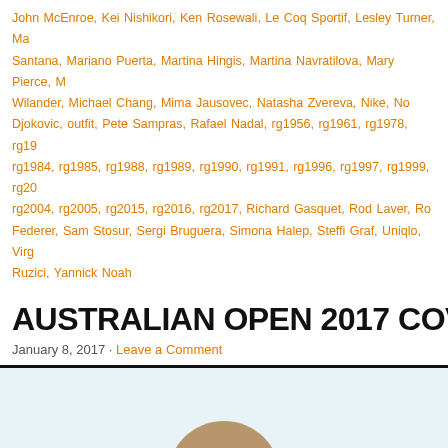John McEnroe, Kei Nishikori, Ken Rosewali, Le Coq Sportif, Lesley Turner, Ma... Santana, Mariano Puerta, Martina Hingis, Martina Navratilova, Mary Pierce, M... Wilander, Michael Chang, Mima Jausovec, Natasha Zvereva, Nike, No... Djokovic, outfit, Pete Sampras, Rafael Nadal, rg1956, rg1961, rg1978, rg19... rg1984, rg1985, rg1988, rg1989, rg1990, rg1991, rg1996, rg1997, rg1999, rg20... rg2004, rg2005, rg2015, rg2016, rg2017, Richard Gasquet, Rod Laver, Ro... Federer, Sam Stosur, Sergi Bruguera, Simona Halep, Steffi Graf, Uniqlo, Virg... Ruzici, Yannick Noah
AUSTRALIAN OPEN 2017 COVERAGE
January 8, 2017 · Leave a Comment
[Figure (photo): Photo of a female tennis player wearing a light blue visor cap and looking upward; cropped at the neck/shoulders area showing her face and hair]